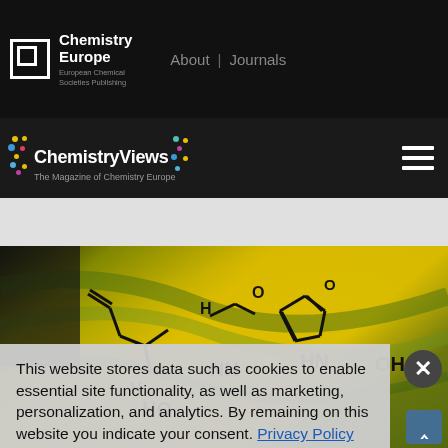Chemistry Europe | European Chemical Societies Publishing | About | Journals
ChemistryViews | The Magazine of Chemistry Europe
[Figure (photo): Chemical structure overlay on yellow/green plant background showing molecular bonds including NH, HN, HO, OH groups]
This website stores data such as cookies to enable essential site functionality, as well as marketing, personalization, and analytics. By remaining on this website you indicate your consent. Privacy Policy